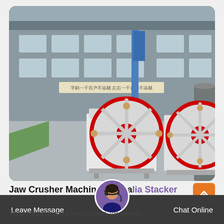[Figure (photo): Two white jaw crusher machines with large red flywheels sitting on a factory floor inside an industrial Chinese manufacturing facility. A Chinese banner/sign is visible on the building wall in the background. Blue pillars and large warehouse windows are visible.]
Jaw Crusher Machine Australia Stacker And Reclaimer
Stone crusher manufactures in china, the review...
Leave Message
Chat Online